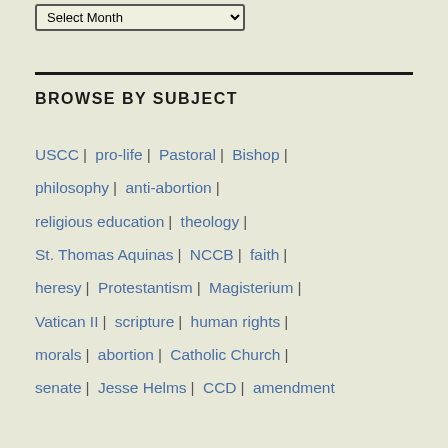BROWSE BY SUBJECT
USCC | pro-life | Pastoral | Bishop | philosophy | anti-abortion | religious education | theology | St. Thomas Aquinas | NCCB | faith | heresy | Protestantism | Magisterium | Vatican II | scripture | human rights | morals | abortion | Catholic Church | senate | Jesse Helms | CCD | amendment